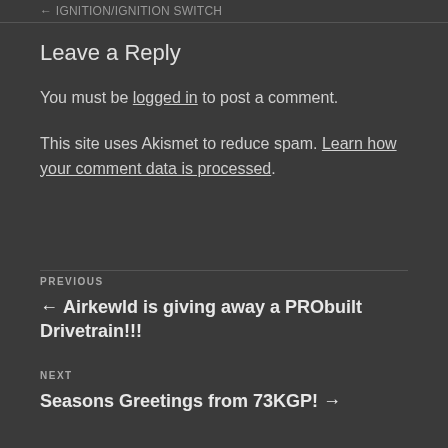← IGNITION/IGNITION SWITCH
Leave a Reply
You must be logged in to post a comment.
This site uses Akismet to reduce spam. Learn how your comment data is processed.
PREVIOUS
← Airkewld is giving away a PRObuilt Drivetrain!!!
NEXT
Seasons Greetings from 73KGP! →